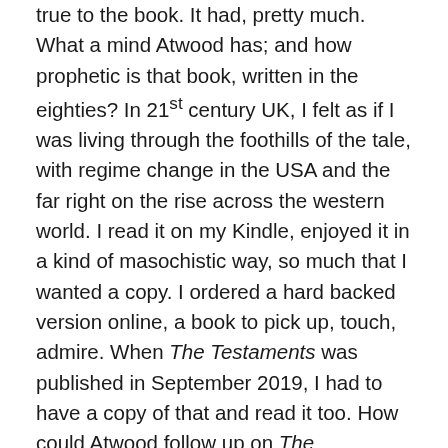true to the book. It had, pretty much. What a mind Atwood has; and how prophetic is that book, written in the eighties? In 21st century UK, I felt as if I was living through the foothills of the tale, with regime change in the USA and the far right on the rise across the western world. I read it on my Kindle, enjoyed it in a kind of masochistic way, so much that I wanted a copy. I ordered a hard backed version online, a book to pick up, touch, admire. When The Testaments was published in September 2019, I had to have a copy of that and read it too. How could Atwood follow up on The Handmaid's Tale, which had left an ending that was open to a sequel? But that was thirty years ago. How would it work now? And was it just cashing in on the TV adaptation? It wasn't, it was wonderful and surprising reading. And if you haven't read it yet, I recommend it. Highly. And if you haven't read the original Tale, you'll need to read that first to really get the